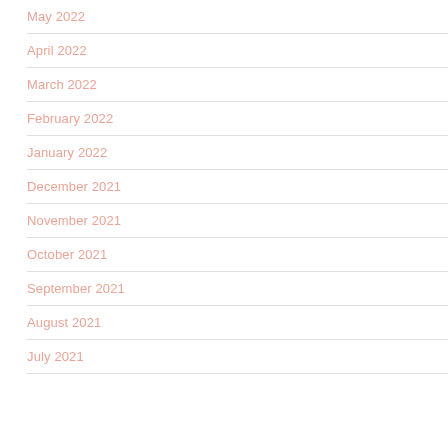May 2022
April 2022
March 2022
February 2022
January 2022
December 2021
November 2021
October 2021
September 2021
August 2021
July 2021